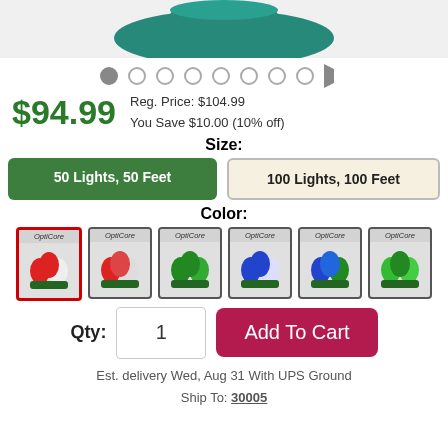[Figure (photo): Product image of green Christmas light string cluster on gray background]
[Figure (other): Carousel navigation dots: 1 active filled dot followed by 7 empty dots and a right arrow]
$94.99
Reg. Price: $104.99
You Save $10.00 (10% off)
Size:
50 Lights, 50 Feet
100 Lights, 100 Feet
Color:
[Figure (photo): Color swatch 1: Red and white OptiCore lights (selected, red border)]
[Figure (photo): Color swatch 2: Red and white OptiCore lights]
[Figure (photo): Color swatch 3: Green OptiCore lights]
[Figure (photo): Color swatch 4: Blue and white OptiCore lights]
[Figure (photo): Color swatch 5: Blue and green OptiCore lights]
[Figure (photo): Color swatch 6: Green OptiCore lights]
Qty:
1
Add To Cart
Est. delivery Wed, Aug 31 With UPS Ground
Ship To: 30005